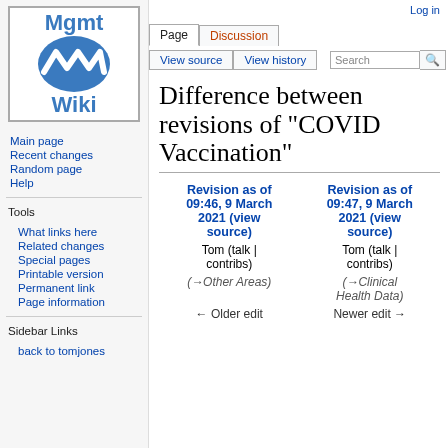[Figure (logo): Mgmt Wiki logo: blue oval with white W-shaped wave icon, text 'Mgmt' above and 'Wiki' below]
Main page
Recent changes
Random page
Help
Tools
What links here
Related changes
Special pages
Printable version
Permanent link
Page information
Sidebar Links
back to tomjones
Log in
Difference between revisions of "COVID Vaccination"
| Revision as of 09:46, 9 March 2021 (view source) | Revision as of 09:47, 9 March 2021 (view source) |
| --- | --- |
| Tom (talk | contribs) | Tom (talk | contribs) |
| (→Other Areas) | (→Clinical Health Data) |
| ← Older edit | Newer edit → |